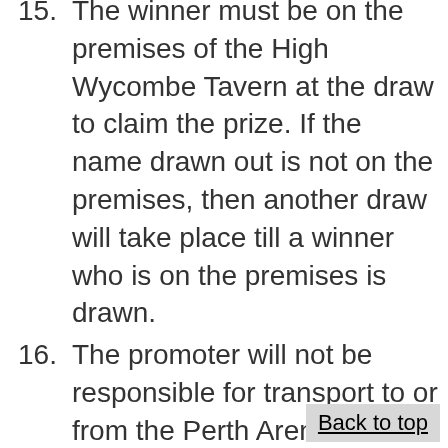15. The winner must be on the premises of the High Wycombe Tavern at the draw to claim the prize. If the name drawn out is not on the premises, then another draw will take place till a winner who is on the premises is drawn.
16. The promoter will not be responsible for transport to or from the Perth Arena.
17. The promoter will not be responsible for any losses or damage to the winner or their guest's property including but not limited to any vehicle, personal belongings or health.
18. The promoter's decision is...